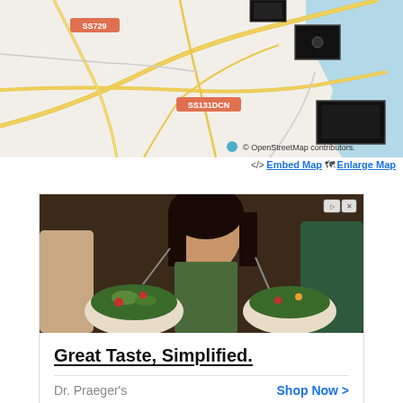[Figure (map): OpenStreetMap showing road network with labels SS729 and SS131DCN, with blue water area on right, and small black thumbnail images overlaid on the map]
© OpenStreetMap contributors.
<> Embed Map  Enlarge Map
[Figure (photo): Advertisement photo showing two people eating salad bowls, smiling, in a warm indoor setting]
Great Taste, Simplified.
Dr. Praeger's    Shop Now >